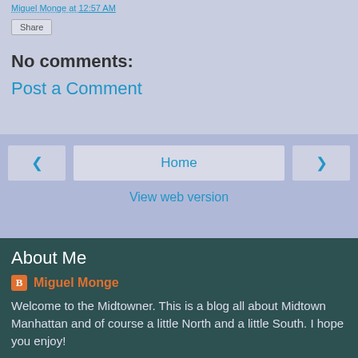Miguel Monge at 12:57 AM
Share
No comments:
Post a Comment
‹
Home
›
View web version
About Me
Miguel Monge
Welcome to the Midtowner. This is a blog all about Midtown Manhattan and of course a little North and a little South. I hope you enjoy!
View my complete profile
Powered by Blogger.